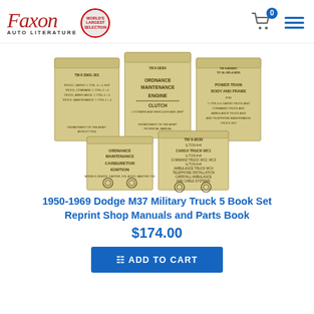Faxon Auto Literature
[Figure (photo): Stack of 5 military technical manual books with tan/yellow covers for Dodge M37 Military Truck]
1950-1969 Dodge M37 Military Truck 5 Book Set Reprint Shop Manuals and Parts Book
$174.00
ADD TO CART